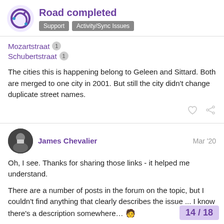Road completed — Support | Activity/Sync Issues
Mozartstraat 1
Schubertstraat 1
The cities this is happening belong to Geleen and Sittard. Both are merged to one city in 2001. But still the city didn't change duplicate street names.
James Chevalier — Mar '20
Oh, I see. Thanks for sharing those links - it helped me understand.
There are a number of posts in the forum on the topic, but I couldn't find anything that clearly describes the issue ... I know there's a description somewhere… 🧑
14 / 18